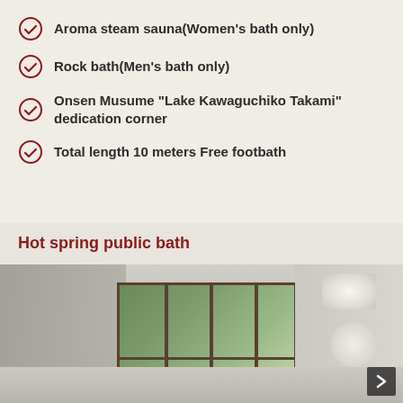Aroma steam sauna(Women's bath only)
Rock bath(Men's bath only)
Onsen Musume "Lake Kawaguchiko Takami" dedication corner
Total length 10 meters Free footbath
Hot spring public bath
[Figure (photo): Interior photo of a hot spring public bath room showing large windows with garden view, white paneled ceiling, and bath area]